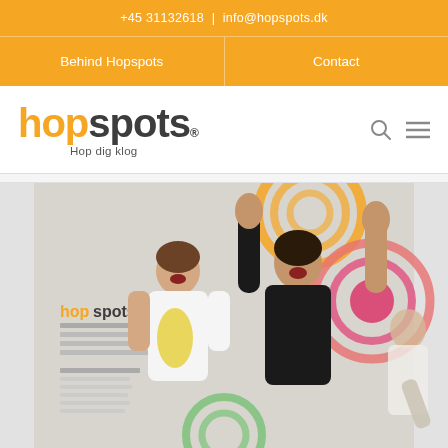+45 31132618 | info@hopspots.dk
Behind Hopspots | Contact
[Figure (logo): Hopspots logo with orange 'hop' and dark grey 'spots' text, registered trademark symbol, tagline 'Hop dig klog']
[Figure (photo): Two women laughing and raising their arms in front of a Hopspots branded wall with orange and pink circular target decorations. A third person visible in background.]